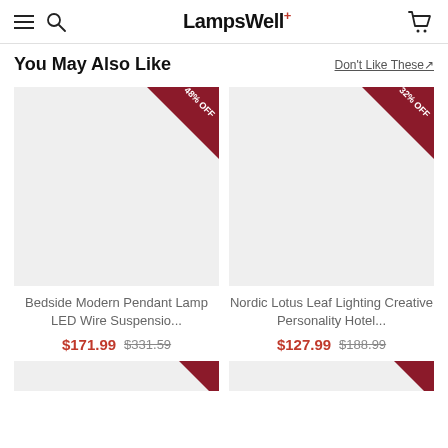LampsWell+
You May Also Like
Don't Like These↗
[Figure (photo): Product image placeholder for Bedside Modern Pendant Lamp LED Wire Suspension, showing 48% off badge]
Bedside Modern Modern Pendant Lamp LED Wire Suspensio...
$171.99  $331.59
[Figure (photo): Product image placeholder for Nordic Lotus Leaf Lighting Creative Personality Hotel, showing 32% off badge]
Nordic Lotus Leaf Lighting Creative Personality Hotel...
$127.99  $188.99